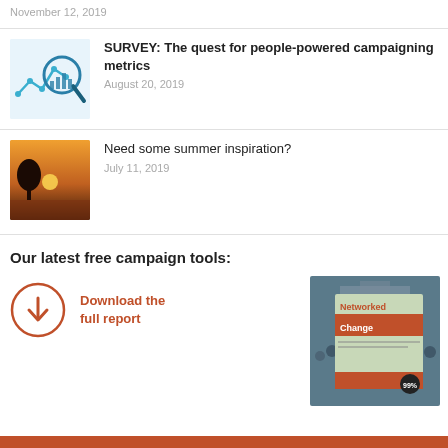November 12, 2019
[Figure (illustration): Survey article thumbnail: magnifying glass over a bar chart with a line graph on light blue background]
SURVEY: The quest for people-powered campaigning metrics
August 20, 2019
[Figure (photo): Sunset photo with silhouette of a tree against orange sky]
Need some summer inspiration?
July 11, 2019
Our latest free campaign tools:
[Figure (illustration): Download icon: orange circle with downward arrow]
Download the full report
[Figure (photo): Networked Change book cover composite with crowd background and 99% badge]